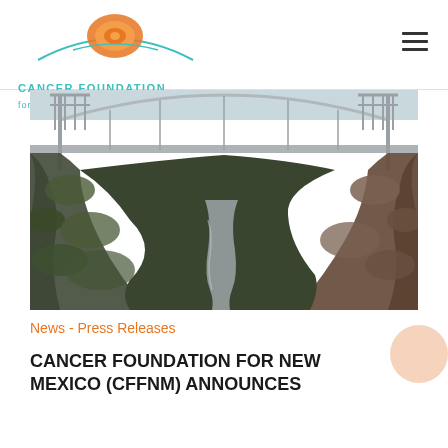Cancer Foundation for New Mexico
[Figure (photo): Aerial view of a bridge spanning a deep canyon with a river visible at the bottom. The arched steel bridge crosses between two rocky canyon walls covered in scrub vegetation, with the winding river far below.]
News - Press Releases
CANCER FOUNDATION FOR NEW MEXICO (CFFNM) ANNOUNCES